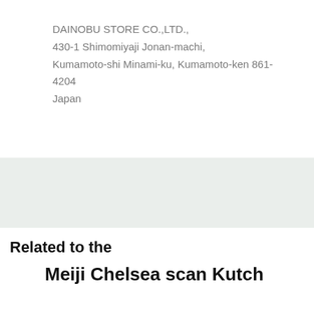DAINOBU STORE CO.,LTD.,
430-1 Shimomiyaji Jonan-machi,
Kumamoto-shi Minami-ku, Kumamoto-ken 861-4204
Japan
[Figure (other): Light gray/green banner background strip]
Related to the
Meiji Chelsea scan Kutch